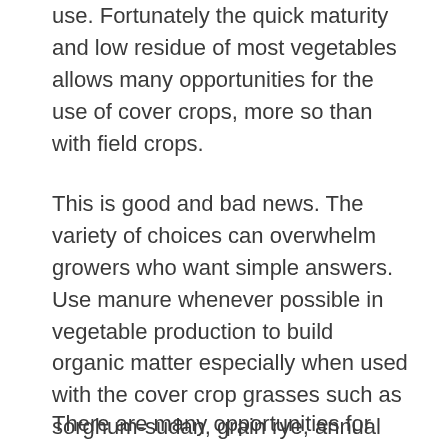use. Fortunately the quick maturity and low residue of most vegetables allows many opportunities for the use of cover crops, more so than with field crops.
This is good and bad news. The variety of choices can overwhelm growers who want simple answers.  Use manure whenever possible in vegetable production to build organic matter especially when used with the cover crop grasses such as sorghum-sudan, grain rye, annual ryegrass, etc.
There are many opportunities for cover